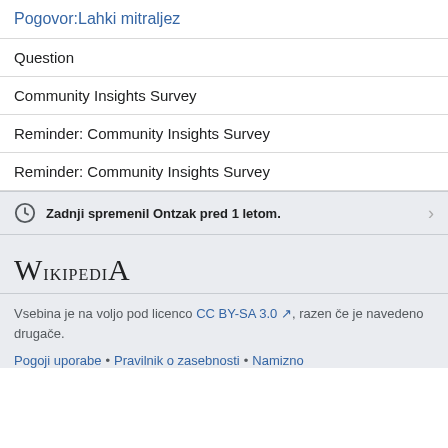Pogovor:Lahki mitraljez
Question
Community Insights Survey
Reminder: Community Insights Survey
Reminder: Community Insights Survey
Zadnji spremenil Ontzak pred 1 letom.
[Figure (logo): Wikipedia logo text in serif font]
Vsebina je na voljo pod licenco CC BY-SA 3.0, razen če je navedeno drugače.
Pogoji uporabe • Pravilnik o zasebnosti • Namizno